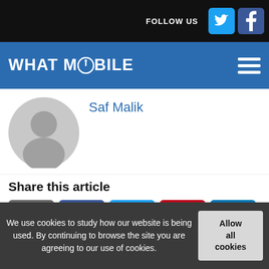FOLLOW US
WHAT MOBILE
Saf Malik
[Figure (illustration): Generic grey user avatar silhouette placeholder image]
Share this article
[Figure (infographic): Row of social sharing buttons: email, Facebook, Twitter, Pinterest, LinkedIn]
More Stories
We use cookies to study how our website is being used. By continuing to browse the site you are agreeing to our use of cookies.